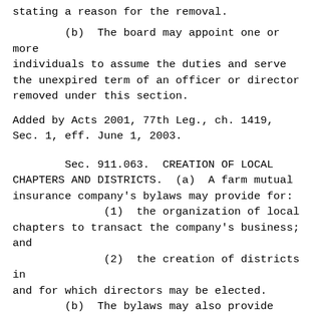stating a reason for the removal.
(b)  The board may appoint one or more individuals to assume the duties and serve the unexpired term of an officer or director removed under this section.
Added by Acts 2001, 77th Leg., ch. 1419, Sec. 1, eff. June 1, 2003.
Sec. 911.063.  CREATION OF LOCAL CHAPTERS AND DISTRICTS.  (a)  A farm mutual insurance company's bylaws may provide for:
          (1)  the organization of local chapters to transact the company's business; and
          (2)  the creation of districts in and for which directors may be elected.
     (b)  The bylaws may also provide that delegates from the company's local chapters